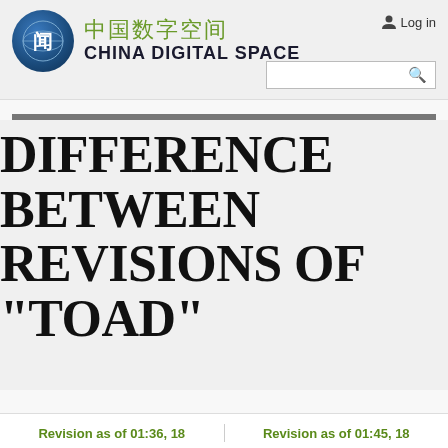[Figure (logo): China Digital Space website header with circular logo showing Chinese character, Chinese text '中国数字空间' in green, and 'CHINA DIGITAL SPACE' in bold black. Includes Log in link and search bar.]
DIFFERENCE BETWEEN REVISIONS OF "TOAD"
Revision as of 01:36, 18
Revision as of 01:45, 18